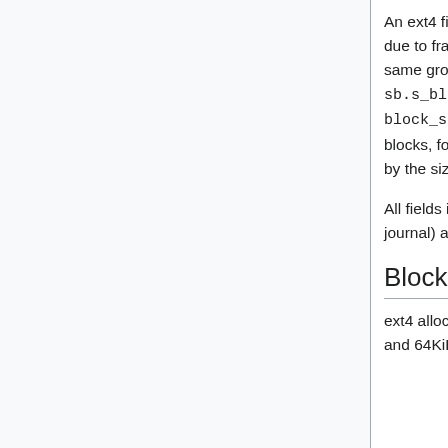An ext4 file system is split into a series of block groups. To reduce performance difficulties due to fragmentation, the block allocator tries very hard to keep each file's blocks within the same group, thereby reducing seek times. The size of a block group is specified in sb.s_blocks_per_group blocks, though it can also calculated as 8 * block_size_in_bytes. With the default block size of 4KiB, each group will contain 32,768 blocks, for a length of 128MiB. The number of block groups is the size of the device divided by the size of a block group.
All fields in ext4 are written to disk in little-endian order. HOWEVER, all fields in jbd2 (the journal) are written to disk in big-endian order.
Blocks
ext4 allocates storage space in units of "blocks". A block is a group of sectors between 1KiB and 64KiB, and the number of sectors must be an integral power of 2. Blocks are in